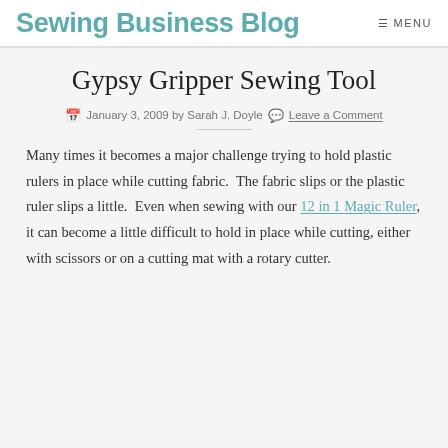Sewing Business Blog  MENU
Gypsy Gripper Sewing Tool
January 3, 2009 by Sarah J. Doyle   Leave a Comment
Many times it becomes a major challenge trying to hold plastic rulers in place while cutting fabric.  The fabric slips or the plastic ruler slips a little.  Even when sewing with our 12 in 1 Magic Ruler, it can become a little difficult to hold in place while cutting, either with scissors or on a cutting mat with a rotary cutter.